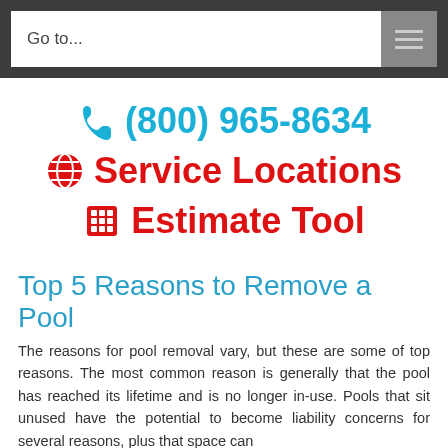Go to...
✆ (800) 965-8634
🌐 Service Locations
⊞ Estimate Tool
Top 5 Reasons to Remove a Pool
The reasons for pool removal vary, but these are some of top reasons. The most common reason is generally that the pool has reached its lifetime and is no longer in-use. Pools that sit unused have the potential to become liability concerns for several reasons, plus that space can